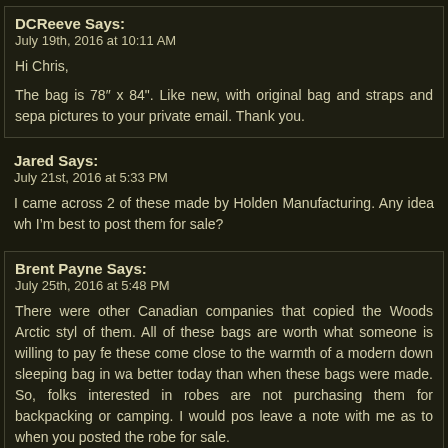DCReeve Says:
July 19th, 2016 at 10:11 AM

Hi Chris,

The bag is 78″ x 84". Like new, with original bag and straps and sepa... pictures to your private email. Thank you.
Jared Says:
July 21st, 2016 at 5:33 PM

I came across 2 of these made by Holden Manufacturing. Any idea wh... I'm best to post them for sale?
Brent Payne Says:
July 25th, 2016 at 5:48 PM

There were other Canadian companies that copied the Woods Arctic styl... of them. All of these bags are worth what someone is willing to pay fe... these come close to the warmth of a modern down sleeping bag in wa... better today than when these bags were made. So, folks interested in... robes are not purchasing them for backpacking or camping. I would pos... leave a note with me as to when you posted the robe for sale.